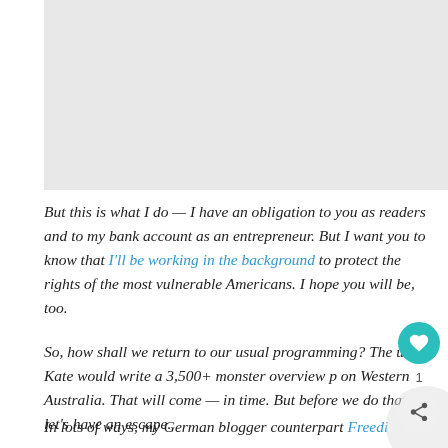[Figure (photo): Gray rectangular image placeholder at top of page]
But this is what I do — I have an obligation to you as readers and to my bank account as an entrepreneur. But I want you to know that I'll be working in the background to protect the rights of the most vulnerable Americans. I hope you will be, too.
So, how shall we return to our usual programming? The usual Kate would write a 3,500+ monster overview p on Western Australia. That will come — in time. But before we do that, let's have an escape.
In lots of ways, my German blogger counterpart Freedi